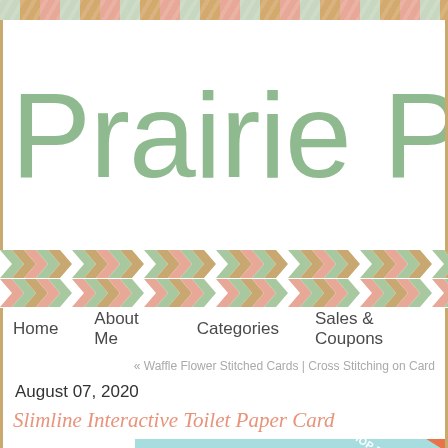Prairie Pa
[Figure (illustration): Decorative chevron/herringbone pattern band in sage green, tan/gold, and coral/pink colors]
Home   About Me   Categories   Sales & Coupons
« Waffle Flower Stitched Cards | Cross Stitching on Card
August 07, 2020
Slimline Interactive Toilet Paper Card
[Figure (photo): Blog post thumbnail image with light teal/blue background and orange diagonal ribbon banner reading 'SHOP EXCLUSIVE!']